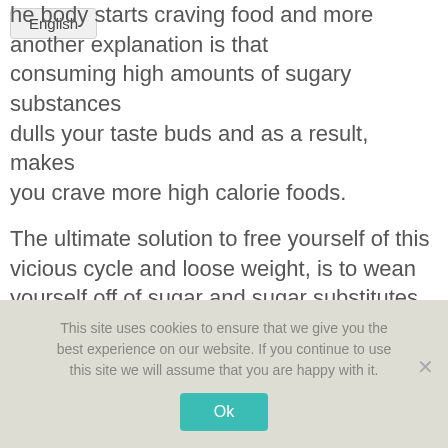the body starts craving food and more. Another explanation is that consuming high amounts of sugary substances dulls your taste buds and as a result, makes you crave more high calorie foods.
The ultimate solution to free yourself of this vicious cycle and loose weight, is to wean yourself off of sugar and sugar substitutes slowly. You can start the weaning process with Stevia, a safe and natural, no-calorie sweetener.
This site uses cookies to ensure that we give you the best experience on our website. If you continue to use this site we will assume that you are happy with it.